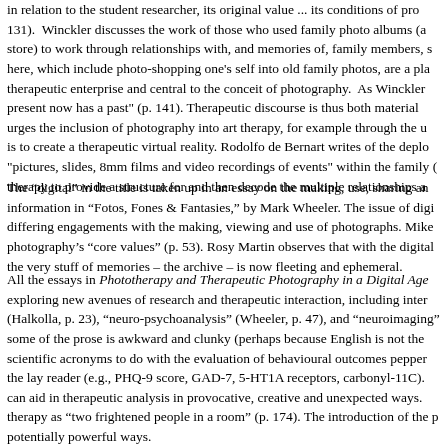in relation to the student researcher, its original value ... its conditions of production (p. 131). Winckler discusses the work of those who used family photo albums (and the family store) to work through relationships with, and memories of, family members, some of the practices here, which include photo-shopping one's self into old family photos, are a playful part of the therapeutic enterprise and central to the conceit of photography. As Winckler notes, photographs "present now has a past" (p. 141). Therapeutic discourse is thus both material ... urges the inclusion of photography into art therapy, for example through the use of photography is to create a therapeutic virtual reality. Rodolfo de Bernart writes of the deployment of "pictures, slides, 8mm films and video recordings of events" within the family ( therapy to provide a structure for and then decode the multiple relationships a
The “digital” in the title is taken up in an essay on the making, use, sharing and information in “Fotos, Fones & Fantasies,” by Mark Wheeler. The issue of differing engagements with the making, viewing and use of photographs. Mike photography’s “core values” (p. 53). Rosy Martin observes that with the digital the very stuff of memories – the archive – is now fleeting and ephemeral.
All the essays in Phototherapy and Therapeutic Photography in a Digital Age exploring new avenues of research and therapeutic interaction, including inter (Halkolla, p. 23), “neuro-psychoanalysis” (Wheeler, p. 47), and “neuroimaging” some of the prose is awkward and clunky (perhaps because English is not the scientific acronyms to do with the evaluation of behavioural outcomes peppered the lay reader (e.g., PHQ-9 score, GAD-7, 5-HT1A receptors, carbonyl-11C). can aid in therapeutic analysis in provocative, creative and unexpected ways. therapy as “two frightened people in a room” (p. 174). The introduction of the p potentially powerful ways.